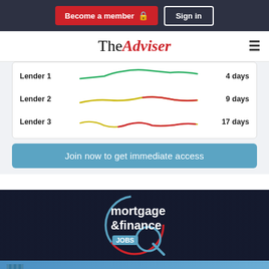Become a member  Sign in
[Figure (logo): TheAdviser logo with red 'Adviser' text and hamburger menu]
[Figure (line-chart): Lender processing times chart showing Lender 1 (4 days), Lender 2 (9 days), Lender 3 (17 days) with colored wavy lines]
Join now to get immediate access
[Figure (infographic): Mortgage & Finance JOBS banner with professional group photo background and circular logo]
[Figure (infographic): BOQ advertisement: We do more to open doors for your customers]
Discover the mortgage jo...
The Adviser allows brokers to compare...